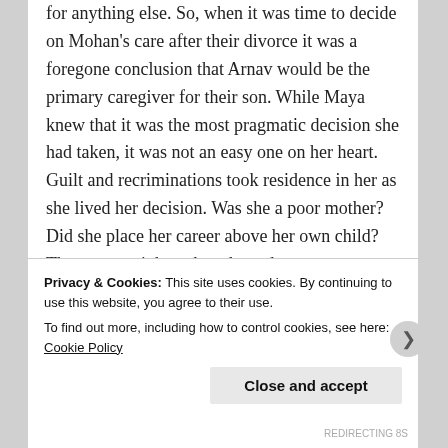for anything else. So, when it was time to decide on Mohan's care after their divorce it was a foregone conclusion that Arnav would be the primary caregiver for their son. While Maya knew that it was the most pragmatic decision she had taken, it was not an easy one on her heart. Guilt and recriminations took residence in her as she lived her decision. Was she a poor mother? Did she place her career above her own child? There were nights when these demons rose to prominence; but then there were evenings like this one when her insecurities were allayed by the camaraderie
Privacy & Cookies: This site uses cookies. By continuing to use this website, you agree to their use.
To find out more, including how to control cookies, see here: Cookie Policy
Close and accept
REDIRECTING 8S